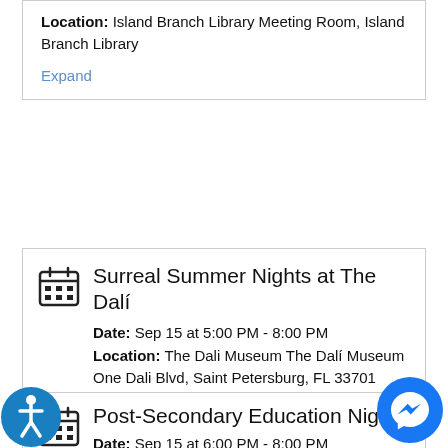Location: Island Branch Library Meeting Room, Island Branch Library
Expand
Surreal Summer Nights at The Dalí
Date: Sep 15 at 5:00 PM - 8:00 PM
Location: The Dali Museum The Dalí Museum One Dali Blvd, Saint Petersburg, FL 33701
Expand
Post-Secondary Education Night
Date: Sep 15 at 6:00 PM - 8:00 PM
Location: Manatee High School 6305 State